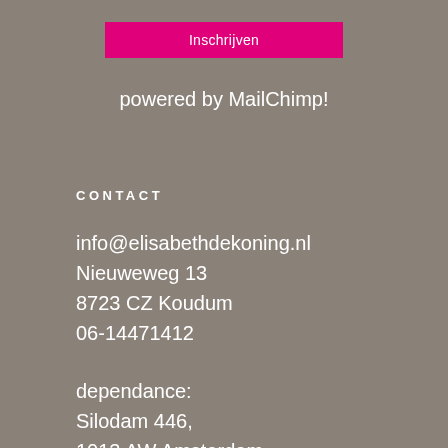Inschrijven
powered by MailChimp!
CONTACT
info@elisabethdekoning.nl
Nieuweweg 13
8723 CZ Koudum
06-14471412
dependance:
Silodam 446,
1013 AW Amsterdam